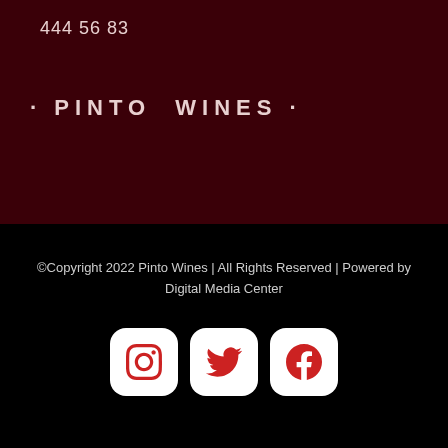444 56 83
· PINTO  WINES ·
©Copyright 2022 Pinto Wines | All Rights Reserved | Powered by Digital Media Center
[Figure (logo): Social media icons: Instagram, Twitter, Facebook in white rounded square boxes with red icons]